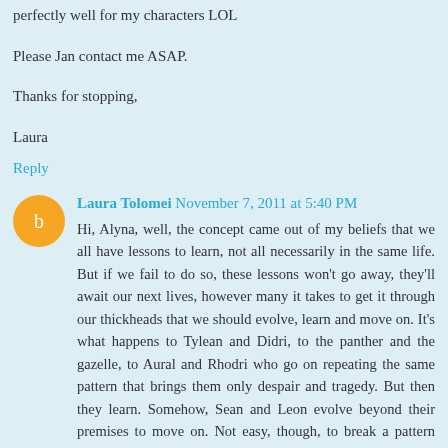perfectly well for my characters LOL
Please Jan contact me ASAP.
Thanks for stopping,
Laura
Reply
Laura Tolomei November 7, 2011 at 5:40 PM
Hi, Alyna, well, the concept came out of my beliefs that we all have lessons to learn, not all necessarily in the same life. But if we fail to do so, these lessons won't go away, they'll await our next lives, however many it takes to get it through our thickheads that we should evolve, learn and move on. It's what happens to Tylean and Didri, to the panther and the gazelle, to Aural and Rhodri who go on repeating the same pattern that brings them only despair and tragedy. But then they learn. Somehow, Sean and Leon evolve beyond their premises to move on. Not easy, though, to break a pattern lasted countless times already.